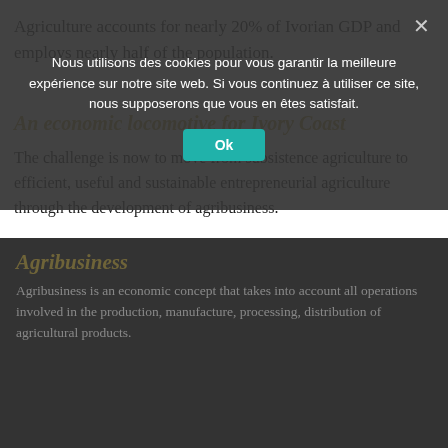Agriculture accounts for nearly 20% of Ivorian GDP and employs nearly half of the population.
An economic locomotive for Ivory Coast
The challenge is now to move from subsistence agriculture to efficient, useful and sustainable entrepreneurial agriculture through the development of agribusiness.
This is a promising market with strong demand that microfinance institutions are trying to meet with tailor-made products.
Agribusiness
Agribusiness is an economic concept that takes into account all operations involved in the production, manufacture, processing, distribution of agricultural products.
Nous utilisons des cookies pour vous garantir la meilleure expérience sur notre site web. Si vous continuez à utiliser ce site, nous supposerons que vous en êtes satisfait.